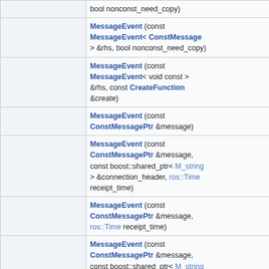|  | bool nonconst_need_copy) |
|  | MessageEvent (const MessageEvent< ConstMessage > &rhs, bool nonconst_need_copy) |
|  | MessageEvent (const MessageEvent< void const > &rhs, const CreateFunction &create) |
|  | MessageEvent (const ConstMessagePtr &message) |
|  | MessageEvent (const ConstMessagePtr &message, const boost::shared_ptr< M_string > &connection_header, ros::Time receipt_time) |
|  | MessageEvent (const ConstMessagePtr &message, ros::Time receipt_time) |
|  | MessageEvent (const ConstMessagePtr &message, const boost::shared_ptr< M_string > &connection_header, ros::Time receipt_time, bool nonconst_need_copy, const CreateFunction &create) |
| bool | nonConstWillCopy () const |